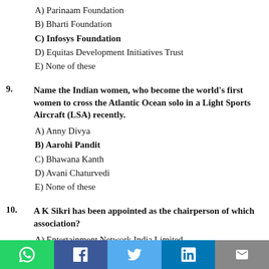A) Parinaam Foundation
B) Bharti Foundation
C) Infosys Foundation
D) Equitas Development Initiatives Trust
E) None of these
9. Name the Indian women, who become the world's first women to cross the Atlantic Ocean solo in a Light Sports Aircraft (LSA) recently.
A) Anny Divya
B) Aarohi Pandit
C) Bhawana Kanth
D) Avani Chaturvedi
E) None of these
10. A K Sikri has been appointed as the chairperson of which association?
A) Entertainment Network India Limited
B) Indian Broadcasting Foundation
C) Press Council of India
D) News Broadcasting Standards Authority